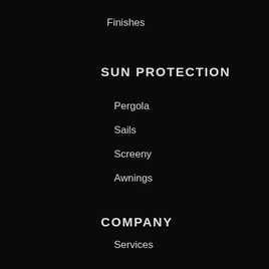Finishes
SUN PROTECTION
Pergola
Sails
Screeny
Awnings
COMPANY
Services
Portfolio
Contact
Request a quote